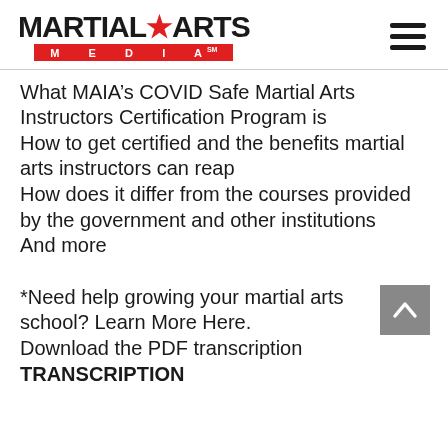MARTIAL ARTS MEDIA
What MAIA’s COVID Safe Martial Arts Instructors Certification Program is
How to get certified and the benefits martial arts instructors can reap
How does it differ from the courses provided by the government and other institutions
And more
*Need help growing your martial arts school? Learn More Here.
Download the PDF transcription
TRANSCRIPTION